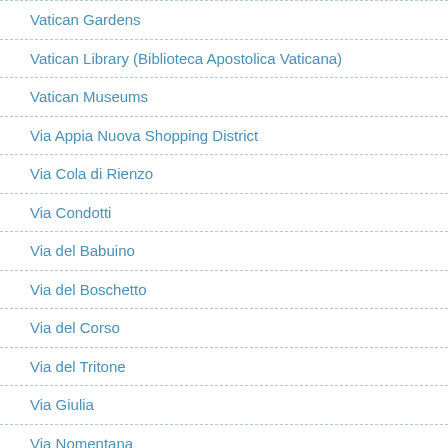Vatican Gardens
Vatican Library (Biblioteca Apostolica Vaticana)
Vatican Museums
Via Appia Nuova Shopping District
Via Cola di Rienzo
Via Condotti
Via del Babuino
Via del Boschetto
Via del Corso
Via del Tritone
Via Giulia
Via Nomentana